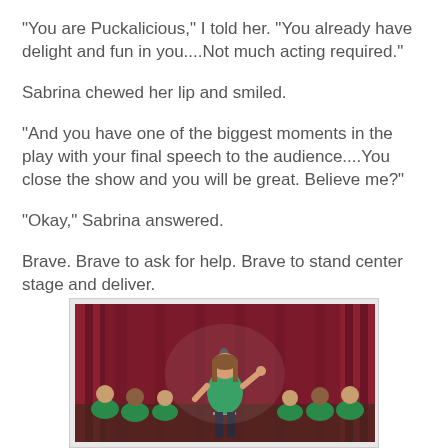"You are Puckalicious," I told her. "You already have delight and fun in you....Not much acting required."
Sabrina chewed her lip and smiled.
"And you have one of the biggest moments in the play with your final speech to the audience....You close the show and you will be great. Believe me?"
"Okay," Sabrina answered.
Brave. Brave to ask for help. Brave to stand center stage and deliver.
[Figure (photo): A young girl in a green t-shirt stands center stage at a microphone, gesturing with one hand, in front of a red curtain. Several other children in green t-shirts are seated behind her on stage.]